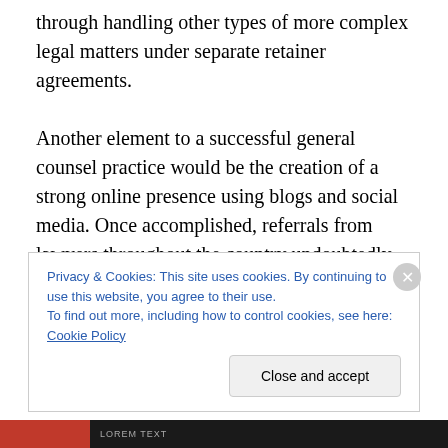through handling other types of more complex legal matters under separate retainer agreements.

Another element to a successful general counsel practice would be the creation of a strong online presence using blogs and social media. Once accomplished, referrals from lawyers throughout the country undoubtedly would follow. You could handle those matters that interested you, and refer the others. Lawyers in your community would begin to appreciate the value of your practice and the referrals, perhaps in turn referring their clients to your
Privacy & Cookies: This site uses cookies. By continuing to use this website, you agree to their use.
To find out more, including how to control cookies, see here: Cookie Policy
Close and accept